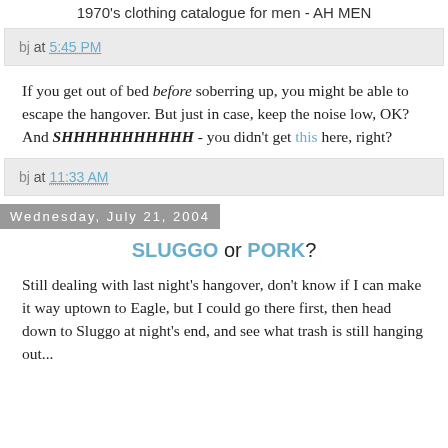1970's clothing catalogue for men - AH MEN
bj at 5:45 PM
If you get out of bed before soberring up, you might be able to escape the hangover. But just in case, keep the noise low, OK? And SHHHHHHHHHHH - you didn't get this here, right?
bj at 11:33 AM
Wednesday, July 21, 2004
SLUGGO or PORK?
Still dealing with last night's hangover, don't know if I can make it way uptown to Eagle, but I could go there first, then head down to Sluggo at night's end, and see what trash is still hanging out...